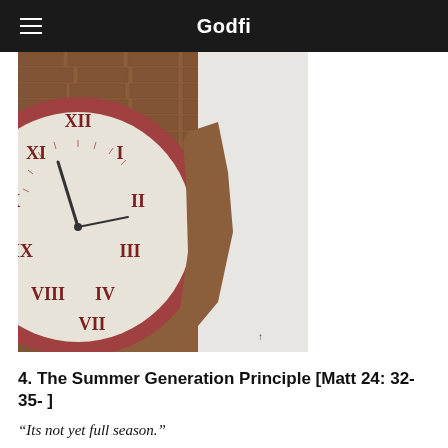Godfi
[Figure (photo): Photograph of a partially ruined brick clock tower. A large round clock face with a red/terracotta border and Roman numerals is visible, partially damaged on the right side. The sky is pale grey in the background.]
4. The Summer Generation Principle [Matt 24: 32-35- ]
“Its not yet full season.”